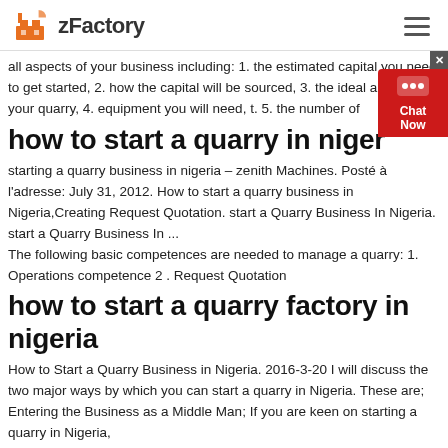zFactory
all aspects of your business including: 1. the estimated capital you need to get started, 2. how the capital will be sourced, 3. the ideal area for your quarry, 4. equipment you will need, t. 5. the number of
how to start a quarry in niger
starting a quarry business in nigeria – zenith Machines. Posté à l'adresse: July 31, 2012. How to start a quarry business in Nigeria,Creating Request Quotation. start a Quarry Business In Nigeria. start a Quarry Business In ... The following basic competences are needed to manage a quarry: 1. Operations competence 2 . Request Quotation
how to start a quarry factory in nigeria
How to Start a Quarry Business in Nigeria. 2016-3-20 I will discuss the two major ways by which you can start a quarry in Nigeria. These are; Entering the Business as a Middle Man; If you are keen on starting a quarry in Nigeria, here's how the development...